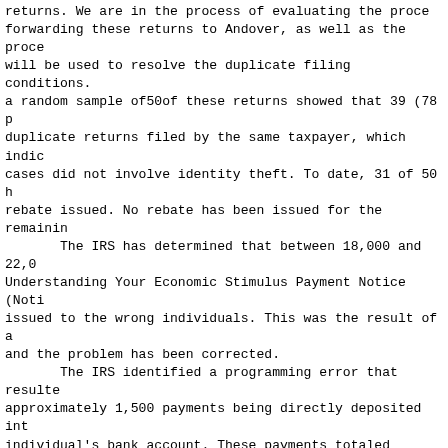returns. We are in the process of evaluating the procedure forwarding these returns to Andover, as well as the proce will be used to resolve the duplicate filing conditions. a random sample of 50 of these returns showed that 39 (78 p duplicate returns filed by the same taxpayer, which indic cases did not involve identity theft. To date, 31 of 50 h rebate issued. No rebate has been issued for the remainin The IRS has determined that between 18,000 and 22,0 Understanding Your Economic Stimulus Payment Notice (Noti issued to the wrong individuals. This was the result of a and the problem has been corrected. The IRS identified a programming error that resulte approximately 1,500 payments being directly deposited int individual's bank account. These payments totaled approxi million. The IRS has since corrected the error and is in reissuing payments to the entitled individuals. IRS is wo banks to recover the incorrect deposits. The IRS reiterated that it will issue a paper stimu only check to anyone who 1) used a Refund Anticipation Lo split the direct deposit refund among more than one bank had tax preparation and other fees deducted from the refu anticipation check (RAC)). This process was established t the individual received the stimulus payment instead of t institution or tax preparer that provided the RAL or RAC 17, 2008, 9.9 million taxpayers had used a RAL and 10.3 m used a RAC to receive their refunds. For split refunds, t to issue a paper check because it did not know which acco taxpayer wanted the stimulus payment deposited in. As of approximately 225,867 taxpayers had split their direct de among more than one bank account. Not all of these indivi qualify for an economic stimulus payment.